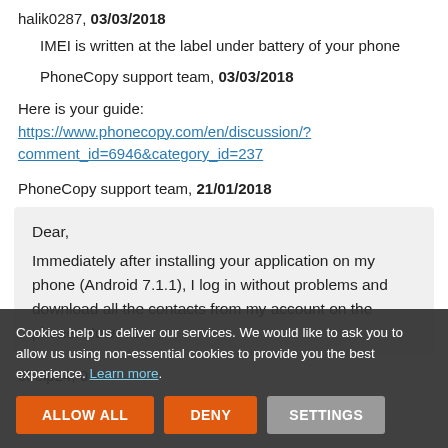halik0287, 03/03/2018
IMEI is written at the label under battery of your phone
PhoneCopy support team, 03/03/2018
Here is your guide:
https://www.phonecopy.com/en/discussion/?comment_id=6946&category_id=237
PhoneCopy support team, 21/01/2018
Dear,
Immediately after installing your application on my phone (Android 7.1.1), I log in without problems and download all the contacts from my account on the phone. However,
ehelp24, 09...
Cookies help us deliver our services. We would like to ask you to allow us using non-essential cookies to provide you the best experience. Learn more.